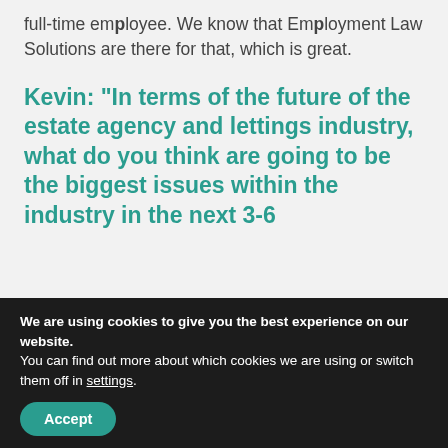full-time employee. We know that Employment Law Solutions are there for that, which is great.
Kevin: “In terms of the future of the estate agency and lettings industry, what do you think are going to be the biggest issues within the industry in the next 3-6
We are using cookies to give you the best experience on our website.
You can find out more about which cookies we are using or switch them off in settings.